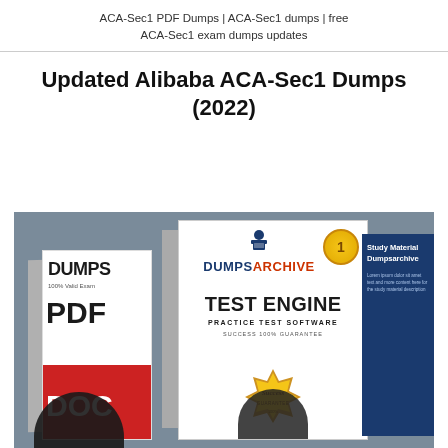ACA-Sec1 PDF Dumps | ACA-Sec1 dumps | free ACA-Sec1 exam dumps updates
Updated Alibaba ACA-Sec1 Dumps (2022)
[Figure (photo): Photo of two study books/binders with DumpsArchive branding. Left book shows 'DUMPS 100% Valid Exam PDF DOC' text with a red bottom section. Right book shows 'DUMPSARCHIVE TEST ENGINE PRACTICE TEST SOFTWARE SUCCESS 100% GUARANTEE' with a success guarantee seal. A blue panel on the right shows 'Study Material Dumpsarchive' text. Graduation cap figures appear at the bottom.]